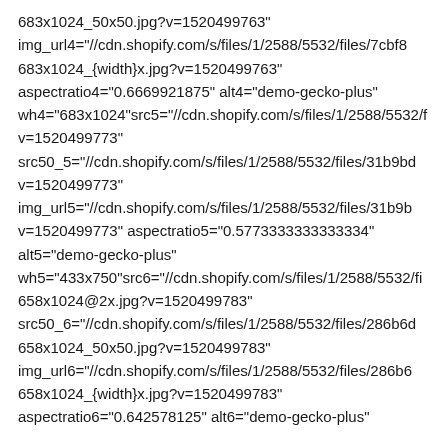683x1024_50x50.jpg?v=1520499763" img_url4="//cdn.shopify.com/s/files/1/2588/5532/files/7cbf8 683x1024_{width}x.jpg?v=1520499763" aspectratio4="0.6669921875" alt4="demo-gecko-plus" wh4="683x1024"src5="//cdn.shopify.com/s/files/1/2588/5532/f v=1520499773" src50_5="//cdn.shopify.com/s/files/1/2588/5532/files/31b9bd v=1520499773" img_url5="//cdn.shopify.com/s/files/1/2588/5532/files/31b9b v=1520499773" aspectratio5="0.5773333333333334" alt5="demo-gecko-plus" wh5="433x750"src6="//cdn.shopify.com/s/files/1/2588/5532/fi 658x1024@2x.jpg?v=1520499783" src50_6="//cdn.shopify.com/s/files/1/2588/5532/files/286b6d 658x1024_50x50.jpg?v=1520499783" img_url6="//cdn.shopify.com/s/files/1/2588/5532/files/286b6 658x1024_{width}x.jpg?v=1520499783" aspectratio6="0.642578125" alt6="demo-gecko-plus"